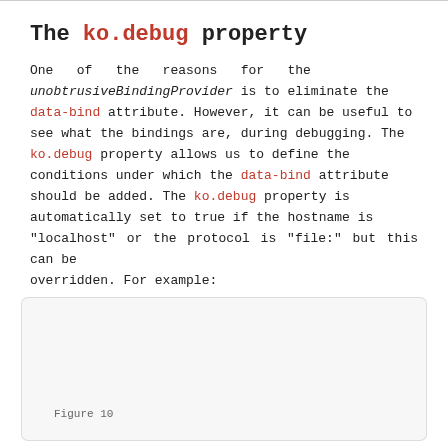The ko.debug property
One of the reasons for the unobtrusiveBindingProvider is to eliminate the data-bind attribute. However, it can be useful to see what the bindings are, during debugging. The ko.debug property allows us to define the conditions under which the data-bind attribute should be added. The ko.debug property is automatically set to true if the hostname is "localhost" or the protocol is "file:" but this can be overridden. For example:
[Figure (screenshot): Code box showing: ko.debug = location.hostname === "stevenbey.com";]
Figure 10